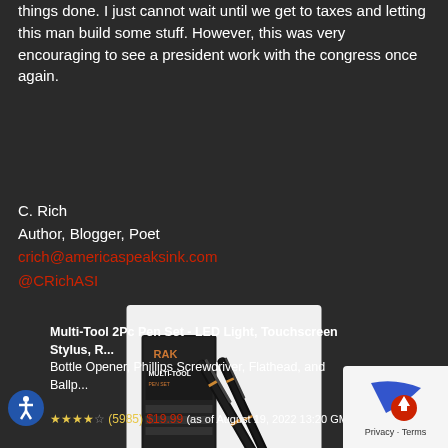things done. I just cannot wait until we get to taxes and letting this man build some stuff. However, this was very encouraging to see a president work with the congress once again.
C. Rich
Author, Blogger, Poet
crich@americaspeaksink.com
@CRichASI
[Figure (photo): Product image of RAK Multi-Tool 2Pc Pen Set showing two black tactical pens and a product box]
Multi-Tool 2Pc Pen Set - LED Light, Touchscreen Stylus, R... Bottle Opener, Phillips Screwdriver, Flathead, and Ballp...
★★★★☆ (5985) $19.99 (as of August 19, 2022 13:20 GMT-04:00 More info)